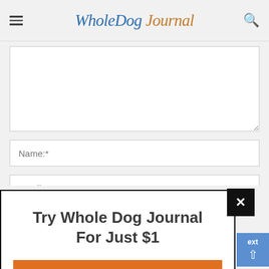WholeDog Journal
[Figure (screenshot): Comment textarea input box, empty, with resize handle]
Name:*
Email:*
[Figure (infographic): Modal popup overlay with text 'Try Whole Dog Journal For Just $1' and orange 'Get Started' button, with X close button in top-right corner]
Try Whole Dog Journal For Just $1
Get Started